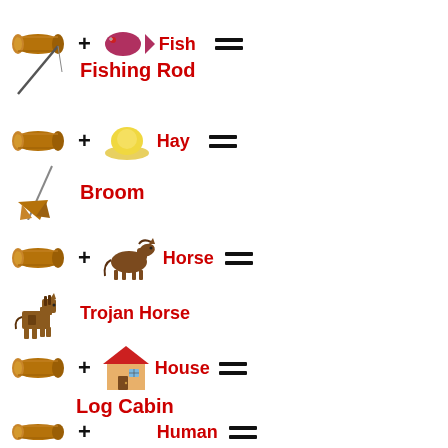[Figure (infographic): Wood + Fish = Fishing Rod crafting recipe]
[Figure (infographic): Wood + Hay = Broom crafting recipe]
[Figure (infographic): Wood + Horse = Trojan Horse crafting recipe]
[Figure (infographic): Wood + House = Log Cabin crafting recipe]
[Figure (infographic): Wood + Human = (result) crafting recipe]